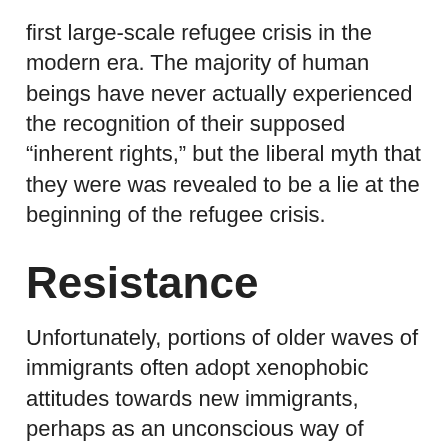first large-scale refugee crisis in the modern era. The majority of human beings have never actually experienced the recognition of their supposed “inherent rights,” but the liberal myth that they were was revealed to be a lie at the beginning of the refugee crisis.
Resistance
Unfortunately, portions of older waves of immigrants often adopt xenophobic attitudes towards new immigrants, perhaps as an unconscious way of consolidating the grudging acceptance they are beginning to receive. This was evident even in the 1890s. But new immigrants from a variety of places and backgrounds were able to make common cause